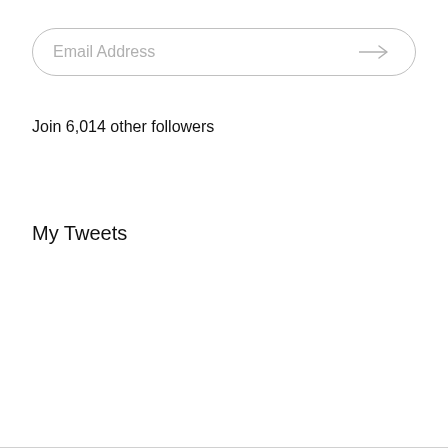[Figure (other): Email address input field with rounded border, placeholder text 'Email Address' on left and right-pointing arrow on right]
Join 6,014 other followers
My Tweets